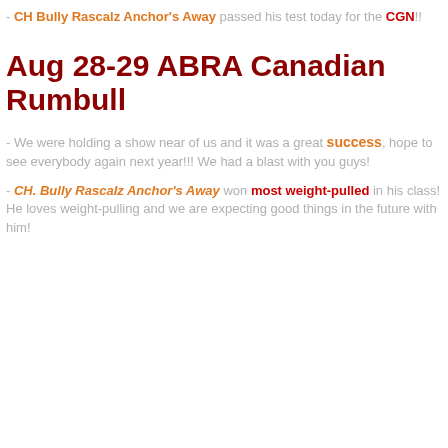- CH Bully Rascalz Anchor's Away passed his test today for the CGN!!
Aug 28-29 ABRA Canadian Rumbull
- We were holding a show near of us and it was a great success, hope to see everybody again next year!!! We had a blast with you guys!
- CH. Bully Rascalz Anchor's Away won most weight-pulled in his class! He loves weight-pulling and we are expecting good things in the future with him!